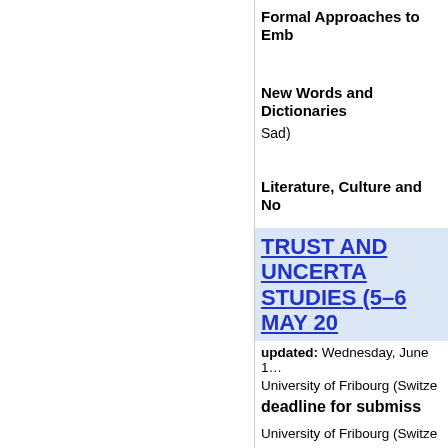Formal Approaches to Emb…
New Words and Dictionaries
Sad)
Literature, Culture and No…
TRUST AND UNCERTA… STUDIES (5–6 MAY 20…
updated: Wednesday, June 1…
University of Fribourg (Switze…
deadline for submiss…
University of Fribourg (Switze…
This two-day conference will e…
Trust and certainty are crucia…
phenomena among which aut…